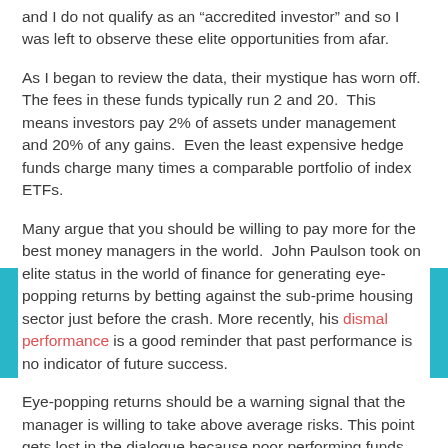and I do not qualify as an “accredited investor” and so I was left to observe these elite opportunities from afar.
As I began to review the data, their mystique has worn off. The fees in these funds typically run 2 and 20. This means investors pay 2% of assets under management and 20% of any gains. Even the least expensive hedge funds charge many times a comparable portfolio of index ETFs.
Many argue that you should be willing to pay more for the best money managers in the world. John Paulson took on elite status in the world of finance for generating eye-popping returns by betting against the sub-prime housing sector just before the crash. More recently, his dismal performance is a good reminder that past performance is no indicator of future success.
Eye-popping returns should be a warning signal that the manager is willing to take above average risks. This point gets lost in the dialogue because poor performing funds get dumped in a graveyard of